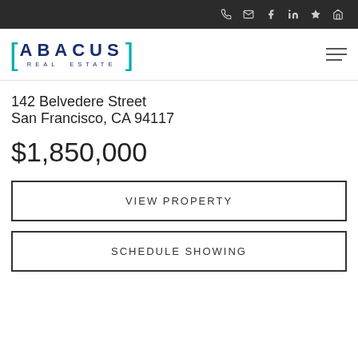Abacus Real Estate — navigation bar with phone, email, facebook, linkedin, yelp, home icons
[Figure (logo): Abacus Real Estate logo with teal brackets and dark blue text]
142 Belvedere Street
San Francisco, CA 94117
$1,850,000
VIEW PROPERTY
SCHEDULE SHOWING